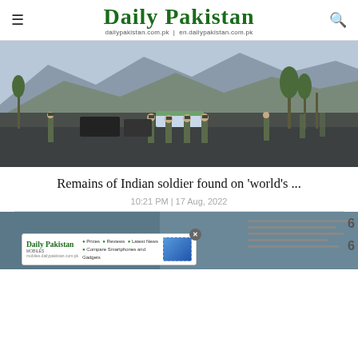Daily Pakistan — dailypakistan.com.pk | en.dailypakistan.com.pk
[Figure (photo): Military personnel in camouflage uniforms carrying a flag-draped coffin on a road, with barren mountains in the background. Other soldiers stand at attention along the road.]
Remains of Indian soldier found on 'world's ...
10:21 PM | 17 Aug, 2022
[Figure (photo): Partial view of another news article image, with a Daily Pakistan mobile advertisement banner overlaid at the bottom showing prices, reviews, and latest news for smartphones and gadgets.]